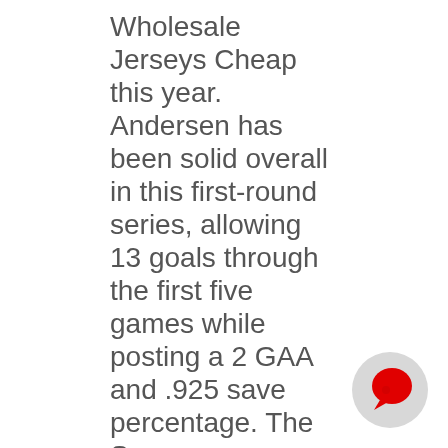Wholesale Jerseys Cheap this year. Andersen has been solid overall in this first-round series, allowing 13 goals through the first five games while posting a 2 GAA and .925 save percentage. The Spurs
[Figure (illustration): A circular chat bubble icon with a gray background circle and a red speech bubble shape inside it.]